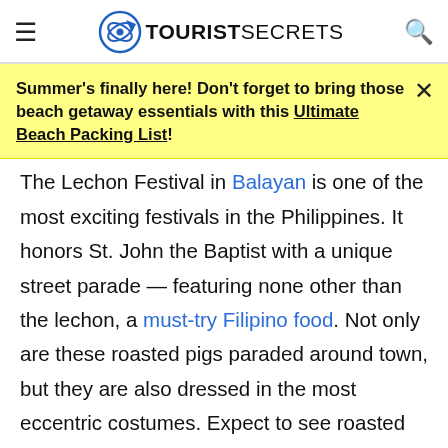TOURISTSECRETS
Summer's finally here! Don't forget to bring those beach getaway essentials with this Ultimate Beach Packing List!
The Lechon Festival in Balayan is one of the most exciting festivals in the Philippines. It honors St. John the Baptist with a unique street parade — featuring none other than the lechon, a must-try Filipino food. Not only are these roasted pigs paraded around town, but they are also dressed in the most eccentric costumes. Expect to see roasted pigs dressed up as celebrities and popular characters. If you plan on attending this festival, get your waterproof cameras ready for the basaan